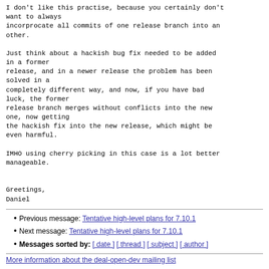I don't like this practise, because you certainly don't want to always
incorprocate all commits of one release branch into an other.

Just think about a hackish bug fix needed to be added in a former
release, and in a newer release the problem has been solved in a
completely different way, and now, if you have bad luck, the former
release branch merges without conflicts into the new one, now getting
the hackish fix into the new release, which might be even harmful.

IMHO using cherry picking in this case is a lot better manageable.


Greetings,
Daniel
Previous message: Tentative high-level plans for 7.10.1
Next message: Tentative high-level plans for 7.10.1
Messages sorted by: [ date ] [ thread ] [ subject ] [ author ]
More information about the deal-open-dev mailing list